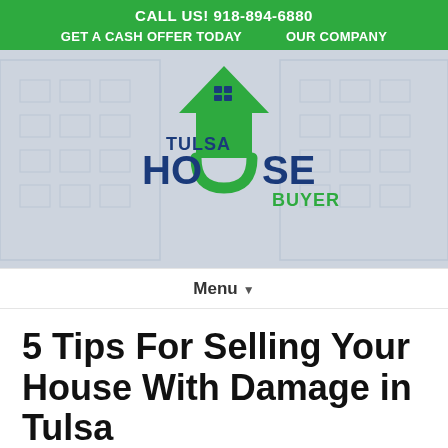CALL US! 918-894-6880
GET A CASH OFFER TODAY   OUR COMPANY
[Figure (logo): Tulsa House Buyer logo with green house/arrow icon and blue bold text]
Menu ▾
5 Tips For Selling Your House With Damage in Tulsa